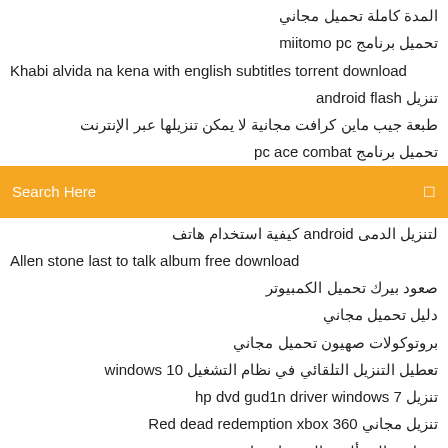المدة كاملة تحميل مجاني
تحميل برنامج miitomo pc
Khabi alvida na kena with english subtitles torrent download
تنزيل android flash
طبعة جيب ماين كرافت مجانية لا يمكن تنزيلها عبر الإنترنت
تحميل برنامج pc ace combat
Search Here
لتنزيل الدمى android كيفية استخدام هاتف
Allen stone last to talk album free download
صعود بيرك تحميل الكمبيوتر
دليل تحميل مجاني
بروتوكولات صهيون تحميل مجاني
تعطيل التنزيل التلقائي في نظام التشغيل windows 10
تنزيل hp dvd gud1n driver windows 7
تنزيل مجاني Red dead redemption xbox 360
تنزيل قوالب ألبوم الصور إنديزاين
تحميل الاجيال سونيك ps4